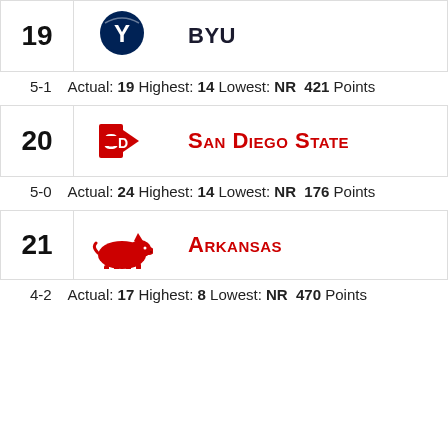| Rank | Team | Record | Stats |
| --- | --- | --- | --- |
| 19 | BYU | 5-1 | Actual: 19 Highest: 14 Lowest: NR  421 Points |
| 20 | San Diego State | 5-0 | Actual: 24 Highest: 14 Lowest: NR  176 Points |
| 21 | Arkansas | 4-2 | Actual: 17 Highest: 8 Lowest: NR  470 Points |